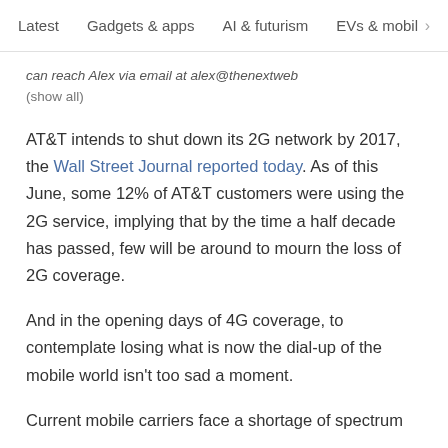Latest  Gadgets & apps  AI & futurism  EVs & mobil  >
can reach Alex via email at alex@thenextweb (show all)
AT&T intends to shut down its 2G network by 2017, the Wall Street Journal reported today. As of this June, some 12% of AT&T customers were using the 2G service, implying that by the time a half decade has passed, few will be around to mourn the loss of 2G coverage.
And in the opening days of 4G coverage, to contemplate losing what is now the dial-up of the mobile world isn't too sad a moment.
Current mobile carriers face a shortage of spectrum